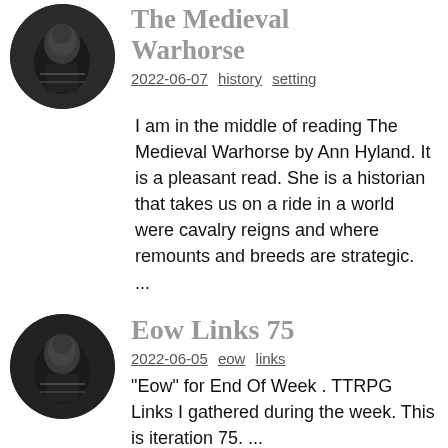[Figure (illustration): Circular avatar image, dark/black and white, showing a fantasy or medieval themed figure]
The Medieval Warhorse
2022-06-07  history  setting
I am in the middle of reading The Medieval Warhorse by Ann Hyland. It is a pleasant read. She is a historian that takes us on a ride in a world were cavalry reigns and where remounts and breeds are strategic. ...
[Figure (illustration): Circular avatar image, dark/black and white, showing a fantasy or medieval themed figure]
Eow Links 75
2022-06-05  eow  links
"Eow" for End Of Week . TTRPG Links I gathered during the week. This is iteration 75. ...
[Figure (illustration): Circular avatar image, dark/black and white, partially visible, showing a fantasy or medieval themed figure]
Highball and Dragons #2